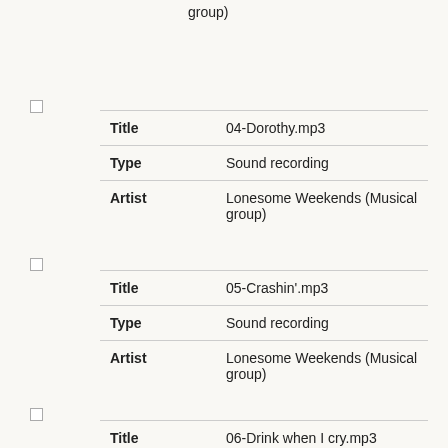group)
| Title | 04-Dorothy.mp3 |
| Type | Sound recording |
| Artist | Lonesome Weekends (Musical group) |
| Title | 05-Crashin'.mp3 |
| Type | Sound recording |
| Artist | Lonesome Weekends (Musical group) |
| Title | 06-Drink when I cry.mp3 |
| Type | Sound recording |
| Artist | Lonesome Weekends (Musical group) |